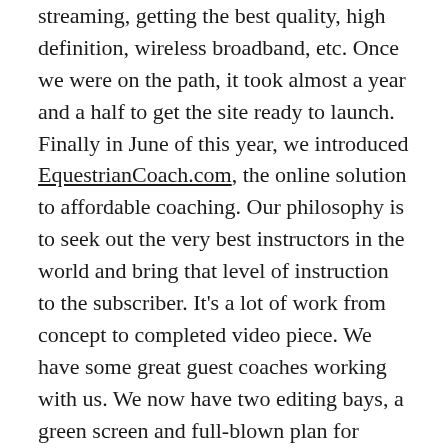streaming, getting the best quality, high definition, wireless broadband, etc. Once we were on the path, it took almost a year and a half to get the site ready to launch. Finally in June of this year, we introduced EquestrianCoach.com, the online solution to affordable coaching. Our philosophy is to seek out the very best instructors in the world and bring that level of instruction to the subscriber. It's a lot of work from concept to completed video piece. We have some great guest coaches working with us. We now have two editing bays, a green screen and full-blown plan for upcoming coaches. It's fun, each one is a learning experience and I really enjoy it. I'm convinced that seeing it visually is the best way.
We are excited to be working with the USHJA, Pony Club, IHSA colleges, affiliate associations and individuals for member discounts. Our newest level